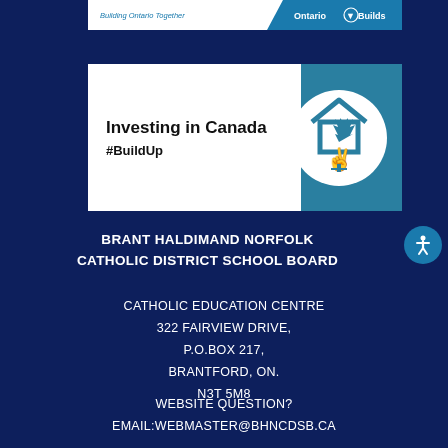[Figure (logo): Ontario Builds banner with 'Building Ontario Together' italic text on white left side and 'Ontario [trillium logo] Builds' on blue right side]
[Figure (logo): Investing in Canada #BuildUp banner with bold text on white left and house/maple leaf circle icon on teal right side]
BRANT HALDIMAND NORFOLK CATHOLIC DISTRICT SCHOOL BOARD
CATHOLIC EDUCATION CENTRE
322 FAIRVIEW DRIVE,
P.O.BOX 217,
BRANTFORD, ON.
N3T 5M8
WEBSITE QUESTION?
EMAIL:WEBMASTER@BHNCDSB.CA